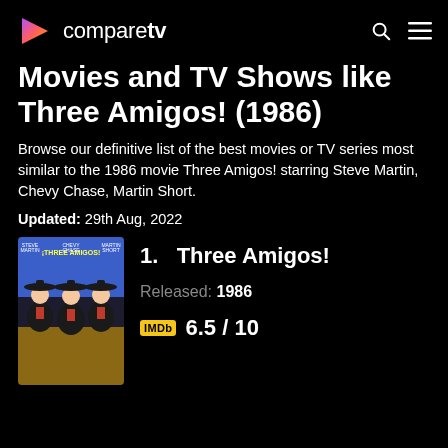comparetv
Movies and TV Shows like Three Amigos! (1986)
Browse our definitive list of the best movies or TV series most similar to the 1986 movie Three Amigos! starring Steve Martin, Chevy Chase, Martin Short.
Updated: 29th Aug, 2022
[Figure (photo): Movie poster for Three Amigos! showing three men in mariachi costumes]
1.  Three Amigos!
Released: 1986
IMDb  6.5 / 10